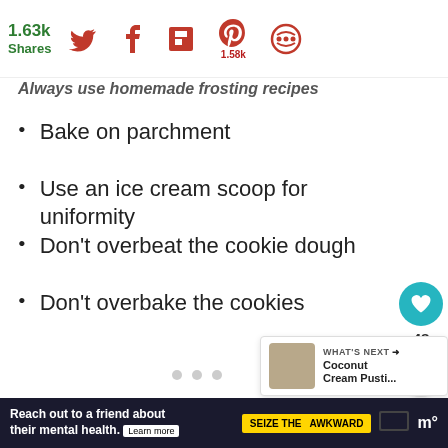1.63k Shares | Social share icons: Twitter, Facebook, Flipboard, Pinterest (1.58k), Other
Always use homemade frosting recipes
Bake on parchment
Use an ice cream scoop for uniformity
Don't overbeat the cookie dough
Don't overbake the cookies
[Figure (other): Slideshow image area with navigation dots]
[Figure (other): What's Next panel with cookie image thumbnail and text: Coconut Cream Pusti...]
Reach out to a friend about their mental health. Learn more | SEIZE THE AWKWARD